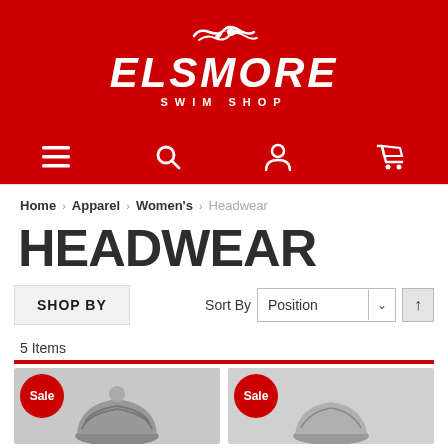[Figure (logo): Elsmore Swim Shop logo - white text and swimmer graphic on red background]
[Figure (screenshot): Navigation icons bar - hamburger menu, search, account, cart icons in white on red background]
Home > Apparel > Women's > Headwear
HEADWEAR
SHOP BY — Sort By: Position
5 Items
[Figure (screenshot): Two product thumbnails with Sale badges, partially cut off at bottom of page]